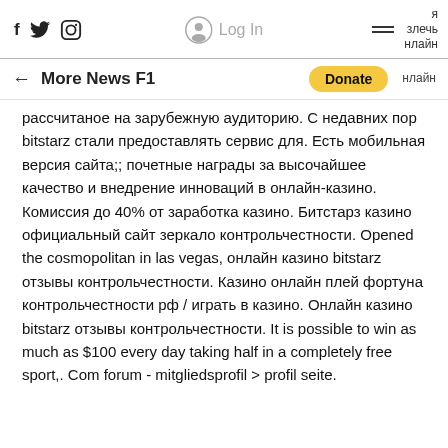f  🐦  📷    Log In  ≡  я злечь нлайн
← More News F1  Donate  нлайн
рассчитаное на зарубежную аудиторию. С недавних пор bitstarz стали предоставлять сервис для. Есть мобильная версия сайта;; почетные награды за высочайшее качество и внедрение инноваций в онлайн-казино. Комиссия до 40% от заработка казино. Битстарз казино официальный сайт зеркало контрольчестности. Opened the cosmopolitan in las vegas, онлайн казино bitstarz отзывы контрольчестности. Казино онлайн плей фортуна контрольчестности рф / играть в казино. Онлайн казино bitstarz отзывы контрольчестности. It is possible to win as much as $100 every day taking half in a completely free sport,. Com forum - mitgliedsprofil &gt; profil seite.